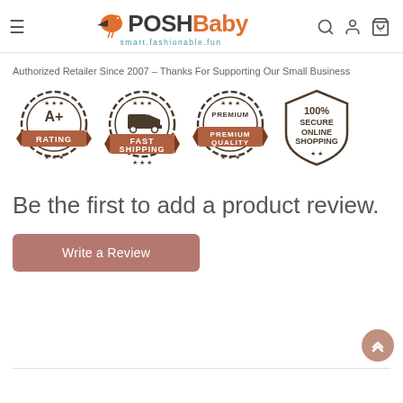[Figure (logo): PoshBaby logo with orange bird icon, bold text 'POSH' in dark and 'Baby' in orange, tagline 'smart.fashionable.fun' below]
Authorized Retailer Since 2007 – Thanks For Supporting Our Small Business
[Figure (infographic): Four trust badges: A+ Rating, Fast Shipping, Premium Quality, 100% Secure Online Shopping]
Be the first to add a product review.
[Figure (other): Write a Review button (brownish-red rounded rectangle)]